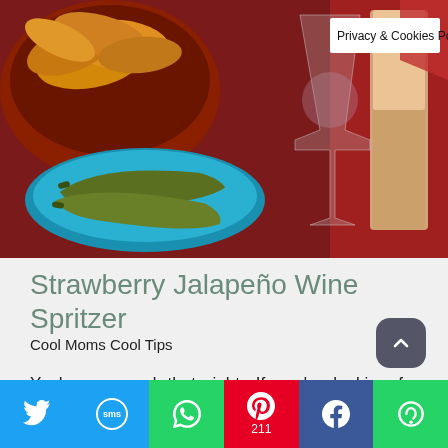[Figure (photo): Food photo showing a bowl of yellow tortilla chips, jalapeños on a blue plate, a wine glass, and a tall glass with a light orange drink on a red wooden table. A white Privacy & Cookies Policy badge is visible in the top right corner.]
Strawberry Jalapeño Wine Spritzer
Cool Moms Cool Tips
Yeah, you read that right. If you're looking for something different with a kick to your taste buds, you know what to do!
Twitter | SMS | WhatsApp | Pinterest 211 | Facebook | More